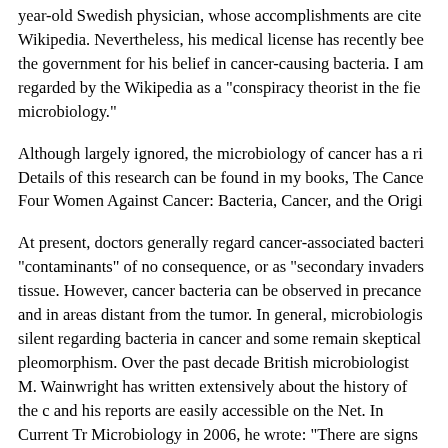year-old Swedish physician, whose accomplishments are cited on Wikipedia. Nevertheless, his medical license has recently been revoked by the government for his belief in cancer-causing bacteria. I am regarded by the Wikipedia as a "conspiracy theorist in the field of microbiology."
Although largely ignored, the microbiology of cancer has a rich history. Details of this research can be found in my books, The Cancer Microbe, Four Women Against Cancer: Bacteria, Cancer, and the Origin of Life.
At present, doctors generally regard cancer-associated bacteria as "contaminants" of no consequence, or as "secondary invaders" of cancer tissue. However, cancer bacteria can be observed in precancerous tissue and in areas distant from the tumor. In general, microbiologists remain silent regarding bacteria in cancer and some remain skeptical of bacterial pleomorphism. Over the past decade British microbiologist M. Wainwright has written extensively about the history of the cancer germ and his reports are easily accessible on the Net. In Current Trends in Microbiology in 2006, he wrote: "There are signs that more credit is being given towards the potential role of non-virus microorganisms in cancer, a fact reflected in the recent appearance of major reviews on the subject, and the consideration of novel approaches such as the